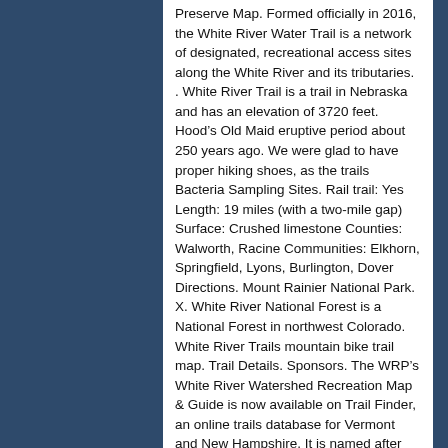Preserve Map. Formed officially in 2016, the White River Water Trail is a network of designated, recreational access sites along the White River and its tributaries. . White River Trail is a trail in Nebraska and has an elevation of 3720 feet. Hood's Old Maid eruptive period about 250 years ago. We were glad to have proper hiking shoes, as the trails Bacteria Sampling Sites. Rail trail: Yes Length: 19 miles (with a two-mile gap) Surface: Crushed limestone Counties: Walworth, Racine Communities: Elkhorn, Springfield, Lyons, Burlington, Dover Directions. Mount Rainier National Park. X. White River National Forest is a National Forest in northwest Colorado. White River Trails mountain bike trail map. Trail Details. Sponsors. The WRP's White River Watershed Recreation Map & Guide is now available on Trail Finder, an online trails database for Vermont and New Hampshire. It is named after the White River that passes through its northern section. Trail Maps. White River Trail from Mapcarta, the free map. Although slightly less than three miles long, this is a worthwhile trail to visit for history, scenery and enjoyable bike riding. The family campground offers 56 secluded campsites and a group camp for tent camping (up to 40